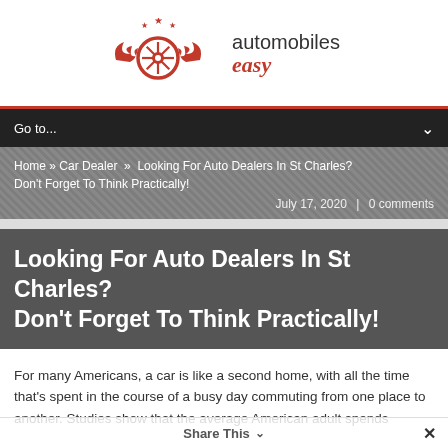[Figure (logo): Automobiles Easy logo: red winged steering wheel with stars above, text 'automobiles easy' in red italic]
Go to...
Home » Car Dealer » Looking For Auto Dealers In St Charles? Don't Forget To Think Practically!
July 17, 2020 | 0 comments
Looking For Auto Dealers In St Charles? Don't Forget To Think Practically!
For many Americans, a car is like a second home, with all the time that's spent in the course of a busy day commuting from one place to another. Studies show that the average American adult spends
Share This